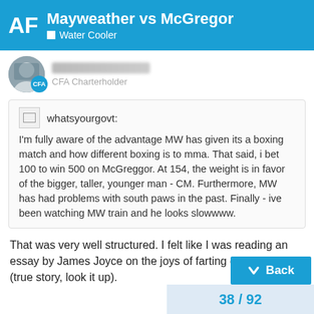AF Mayweather vs McGregor | Water Cooler
CFA Charterholder
whatsyourgovt:
I'm fully aware of the advantage MW has given its a boxing match and how different boxing is to mma. That said, i bet 100 to win 500 on McGreggor. At 154, the weight is in favor of the bigger, taller, younger man - CM. Furthermore, MW has had problems with south paws in the past. Finally - ive been watching MW train and he looks slowwww.
That was very well structured. I felt like I was reading an essay by James Joyce on the joys of farting on people (true story, look it up).
38 / 92